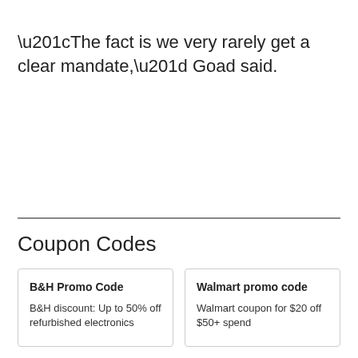“The fact is we very rarely get a clear mandate,” Goad said.
Coupon Codes
B&H Promo Code
B&H discount: Up to 50% off refurbished electronics
Walmart promo code
Walmart coupon for $20 off $50+ spend